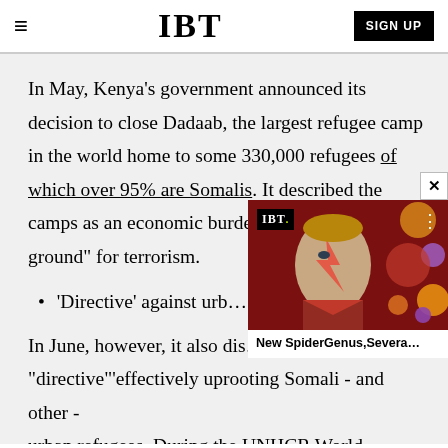IBT | SIGN UP
In May, Kenya's government announced its decision to close Dadaab, the largest refugee camp in the world home to some 330,000 refugees of which over 95% are Somalis. It described the camps as an economic burden and a "breeding ground" for terrorism.
'Directive' against urb…
[Figure (screenshot): IBT video popup overlay showing a Ziggy Stardust-style face-painted person with colorful spheres background. Caption reads 'New SpiderGenus,Severa...']
In June, however, it also dis… "directive"'effectively uprooting Somali - and other - urban refugees. During the UNHCR World Refugee